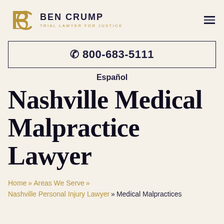BEN CRUMP TRIAL LAWYER FOR JUSTICE
📞 800-683-5111
Español
Nashville Medical Malpractice Lawyer
Home » Areas We Serve » Nashville Personal Injury Lawyer » Medical Malpractices